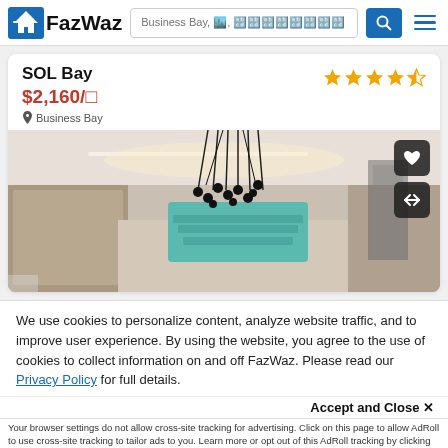FazWaz — Business Bay search bar
SOL Bay
$2,160/□
Business Bay
[Figure (photo): Interior lobby photo of SOL Bay property showing modern chandelier lighting and staircase with teal accents]
We use cookies to personalize content, analyze website traffic, and to improve user experience. By using the website, you agree to the use of cookies to collect information on and off FazWaz. Please read our Privacy Policy for full details.
Accept and Close ✕
Your browser settings do not allow cross-site tracking for advertising. Click on this page to allow AdRoll to use cross-site tracking to tailor ads to you. Learn more or opt out of this AdRoll tracking by clicking here. This message only appears once.